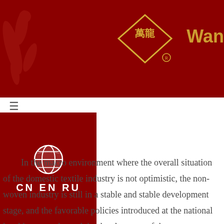[Figure (logo): Red banner header with Chinese dragon watermark on left, and Wanlong company logo (diamond shape with Chinese characters 萬龍) on right with gold text 'Wan' partially visible]
☰
[Figure (logo): Dark red navigation block with globe icon and language links CN EN RU]
In the macro environment where the overall situation of the domestic textile industry is not optimistic, the non-woven industry is still in a stable and stable development stage, and the favorable policies introduced at the national level have accelerated the development of the nonwovens industry. The market development prospects of equipment are very broad. The company is engaged in the advantages of non-woven machinery technology and brand